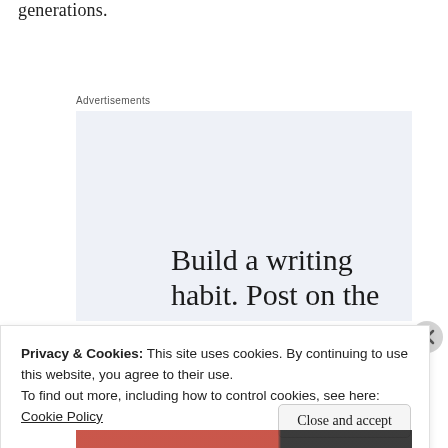generations.
Advertisements
[Figure (other): WordPress advertisement banner with light blue background. Large serif text reads 'Build a writing habit. Post on the go.' Blue uppercase link text 'GET THE APP' and WordPress circular logo icon in bottom right.]
Privacy & Cookies: This site uses cookies. By continuing to use this website, you agree to their use.
To find out more, including how to control cookies, see here: Cookie Policy
Close and accept